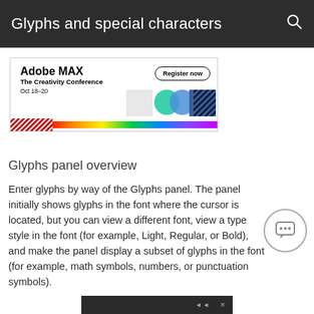Glyphs and special characters
[Figure (illustration): Adobe MAX - The Creativity Conference advertisement banner. Shows bold text 'Adobe MAX', subtitle 'The Creativity Conference', date 'Oct 18-20', a 'Register now' button, colorful rainbow stripe at bottom, and geometric graphic elements.]
Glyphs panel overview
Enter glyphs by way of the Glyphs panel. The panel initially shows glyphs in the font where the cursor is located, but you can view a different font, view a type style in the font (for example, Light, Regular, or Bold), and make the panel display a subset of glyphs in the font (for example, math symbols, numbers, or punctuation symbols).
[Figure (screenshot): Partial screenshot of a video player with dark background, showing video control icons at bottom right.]